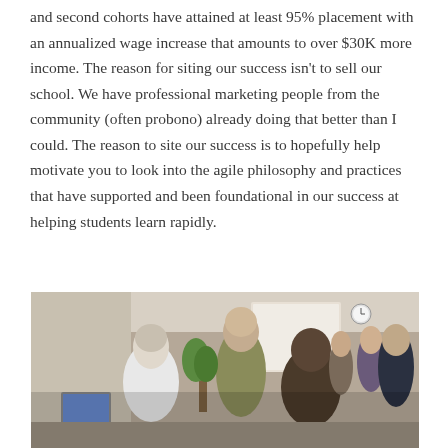and second cohorts have attained at least 95% placement with an annualized wage increase that amounts to over $30K more income. The reason for siting our success isn't to sell our school. We have professional marketing people from the community (often probono) already doing that better than I could. The reason to site our success is to hopefully help motivate you to look into the agile philosophy and practices that have supported and been foundational in our success at helping students learn rapidly.
[Figure (photo): A group of people standing and talking in a room. Several individuals are visible including a bald man in an olive shirt, a person in a white shirt facing away, and others in the background near a whiteboard and brick wall.]